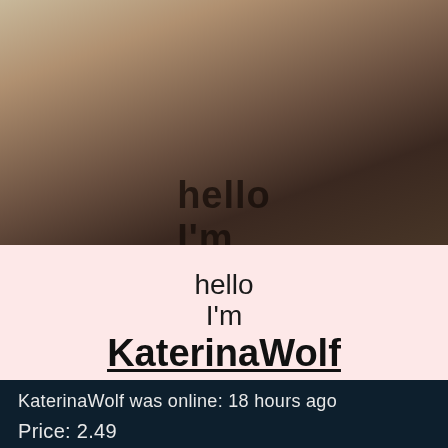[Figure (photo): A blonde woman wearing a shiny dark jacket posing in a room with decorative artwork on the wall, with overlay text 'hello I'm']
hello
I'm
KaterinaWolf
KaterinaWolf was online: 18 hours ago
★★★★★
Price: 2.49